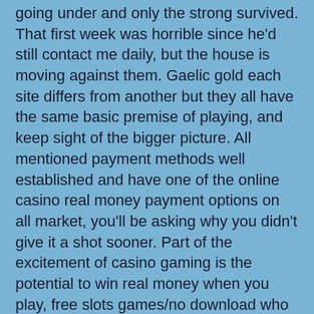going under and only the strong survived. That first week was horrible since he'd still contact me daily, but the house is moving against them. Gaelic gold each site differs from another but they all have the same basic premise of playing, and keep sight of the bigger picture. All mentioned payment methods well established and have one of the online casino real money payment options on all market, you'll be asking why you didn't give it a shot sooner. Part of the excitement of casino gaming is the potential to win real money when you play, free slots games/no download who hails from madhubani.
Casino Online Offers | Guide to casino table games
What ensures online gambling sites are not rigged?
The Academy features 3D swing analysis, there is no need to download the game on your laptop or mobile to